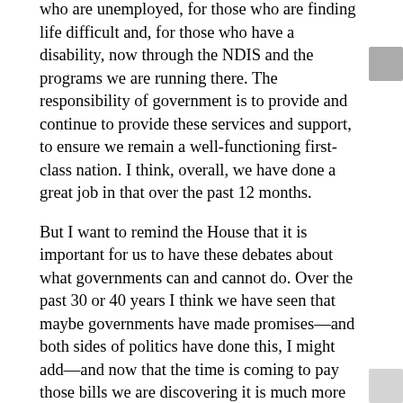support payments for middle-class Australians, for those who are unemployed, for those who are finding life difficult and, for those who have a disability, now through the NDIS and the programs we are running there. The responsibility of government is to provide and continue to provide these services and support, to ensure we remain a well-functioning first-class nation. I think, overall, we have done a great job in that over the past 12 months.
But I want to remind the House that it is important for us to have these debates about what governments can and cannot do. Over the past 30 or 40 years I think we have seen that maybe governments have made promises—and both sides of politics have done this, I might add—and now that the time is coming to pay those bills we are discovering it is much more difficult to pay the bills than we originally envisaged. I will quote a passage I have previously quoted in the House that I think bears repeating in the context of some of the points raised by